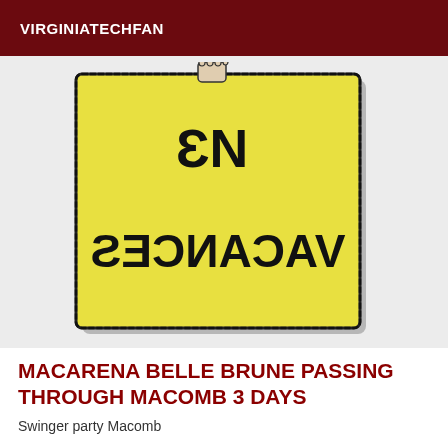VIRGINIATECHFAN
[Figure (illustration): A hand-drawn yellow sign with mirror-reversed / mirrored text reading 'EN VACANCES' — text appears backwards and flipped as if seen from behind. A hand gripping the top of the sign is visible at the top center.]
MACARENA BELLE BRUNE PASSING THROUGH MACOMB 3 DAYS
Swinger party Macomb